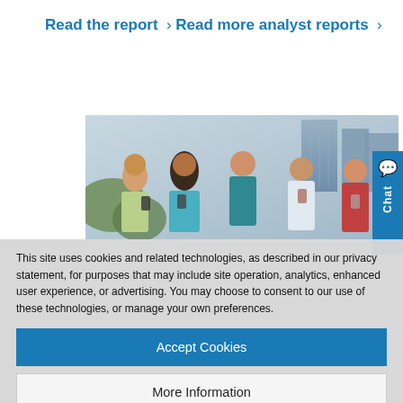Read the report  ›
Read more analyst reports  ›
[Figure (photo): Group of five young people standing outdoors looking at smartphones, smiling, with modern glass buildings in the background]
This site uses cookies and related technologies, as described in our privacy statement, for purposes that may include site operation, analytics, enhanced user experience, or advertising. You may choose to consent to our use of these technologies, or manage your own preferences.
Accept Cookies
More Information
Privacy Policy | Powered by:  TrustArc